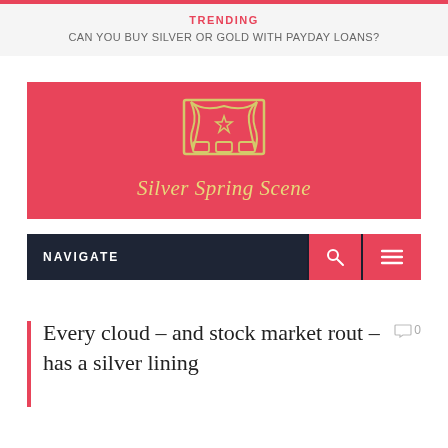TRENDING
CAN YOU BUY SILVER OR GOLD WITH PAYDAY LOANS?
[Figure (logo): Silver Spring Scene logo: pink/red background with theater curtains icon and text 'Silver Spring Scene' in italic]
NAVIGATE
Every cloud – and stock market rout – has a silver lining